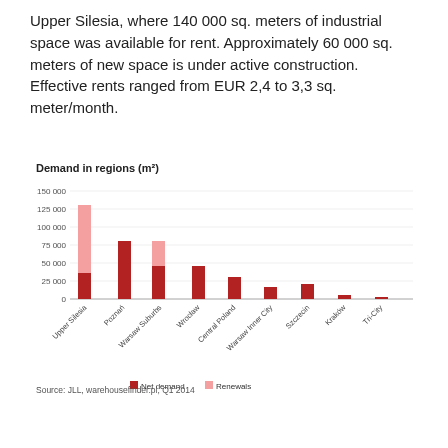Upper Silesia, where 140 000 sq. meters of industrial space was available for rent. Approximately 60 000 sq. meters of new space is under active construction. Effective rents ranged from EUR 2,4 to 3,3 sq. meter/month.
[Figure (grouped-bar-chart): Demand in regions (m²)]
Source: JLL, warehousefinder.pl, Q1 2014